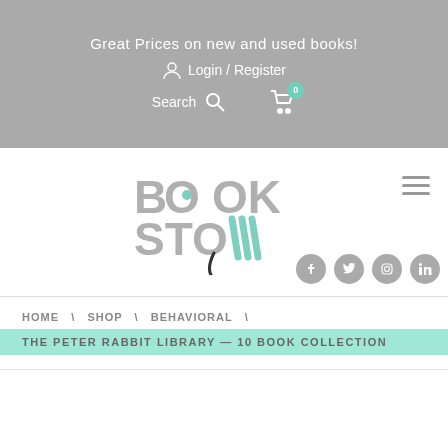Great Prices on new and used books!
Login / Register
Search
[Figure (logo): BookStow logo with gray bold text and teal accent marks]
HOME \ SHOP \ BEHAVIORAL \
THE PETER RABBIT LIBRARY — 10 BOOK COLLECTION